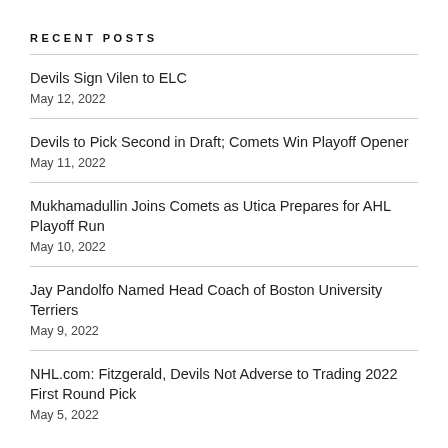RECENT POSTS
Devils Sign Vilen to ELC
May 12, 2022
Devils to Pick Second in Draft; Comets Win Playoff Opener
May 11, 2022
Mukhamadullin Joins Comets as Utica Prepares for AHL Playoff Run
May 10, 2022
Jay Pandolfo Named Head Coach of Boston University Terriers
May 9, 2022
NHL.com: Fitzgerald, Devils Not Adverse to Trading 2022 First Round Pick
May 5, 2022